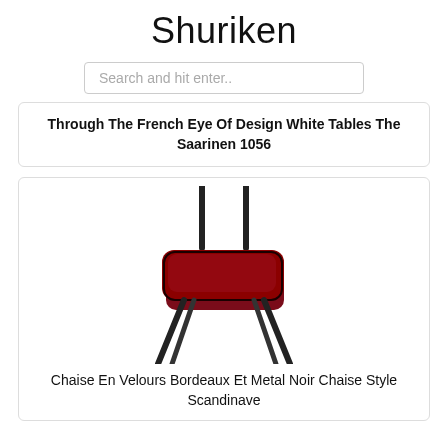Shuriken
Search and hit enter..
Through The French Eye Of Design White Tables The Saarinen 1056
[Figure (photo): A red velvet cushioned chair with black metal legs and back posts, Scandinavian style]
Chaise En Velours Bordeaux Et Metal Noir Chaise Style Scandinave